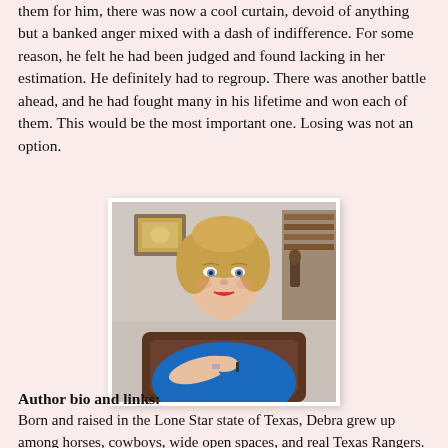them for him, there was now a cool curtain, devoid of anything but a banked anger mixed with a dash of indifference. For some reason, he felt he had been judged and found lacking in her estimation. He definitely had to regroup. There was another battle ahead, and he had fought many in his lifetime and won each of them. This would be the most important one. Losing was not an option.
[Figure (photo): Portrait photo of a woman with blonde hair wearing a blue top, seated with arms crossed, in front of bookshelves and a framed picture on the wall.]
Author bio and links:
Born and raised in the Lone Star state of Texas, Debra grew up among horses, cowboys, wide open spaces, and real Texas Rangers. Pride in her state and ancestry knows no